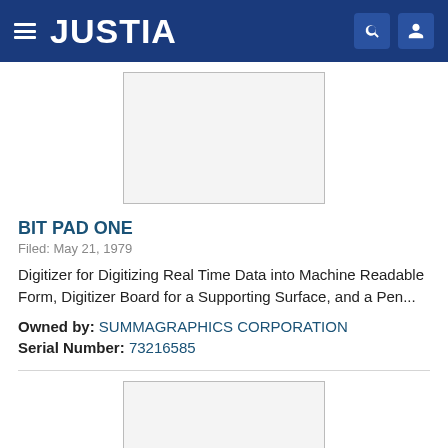JUSTIA
[Figure (other): Trademark image placeholder — light gray rectangle with border]
BIT PAD ONE
Filed: May 21, 1979
Digitizer for Digitizing Real Time Data into Machine Readable Form, Digitizer Board for a Supporting Surface, and a Pen...
Owned by: SUMMAGRAPHICS CORPORATION
Serial Number: 73216585
[Figure (other): Second trademark image placeholder — light gray rectangle with border, partially visible]